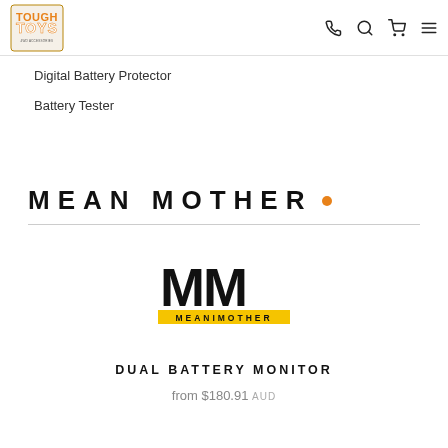Tough Toys — navigation bar with logo, phone, search, cart, and menu icons
Digital Battery Protector
Battery Tester
MEAN MOTHER .
[Figure (logo): Mean Mother logo: large stylized 'MM' letters in black with 'MEANIMOTHER' text below on a yellow bar]
DUAL BATTERY MONITOR
from $180.91 AUD